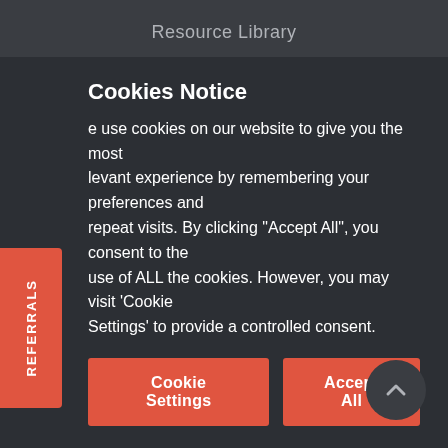Resource Library
Testimonials
OFFICIAL
Bill Of Rights
Copyright
Cookies Notice
We use cookies on our website to give you the most relevant experience by remembering your preferences and repeat visits. By clicking "Accept All", you consent to the use of ALL the cookies. However, you may visit 'Cookie Settings' to provide a controlled consent.
Cookie Settings
Accept All